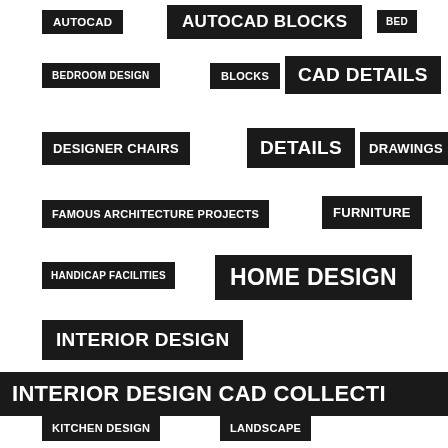AUTOCAD
AUTOCAD BLOCKS
BED
BEDROOM DESIGN
BLOCKS
CAD DETAILS
DESIGNER CHAIRS
DETAILS
DRAWINGS
FAMOUS ARCHITECTURE PROJECTS
FURNITURE
HANDICAP FACILITIES
HOME DESIGN
INTERIOR DESIGN
INTERIOR DESIGN CAD COLLECTI
KITCHEN DESIGN
LANDSCAPE
LANDSCAPE ARCHITECTUR